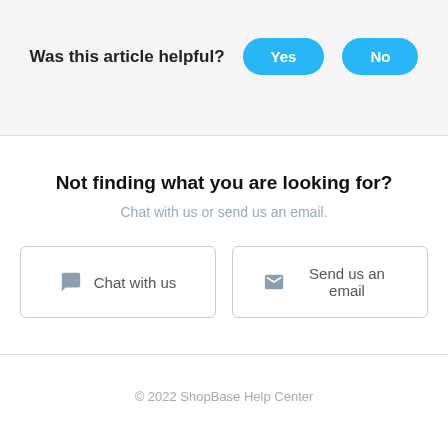Was this article helpful?
Yes
No
Not finding what you are looking for?
Chat with us or send us an email.
Chat with us
Send us an email
© 2022 ShopBase Help Center